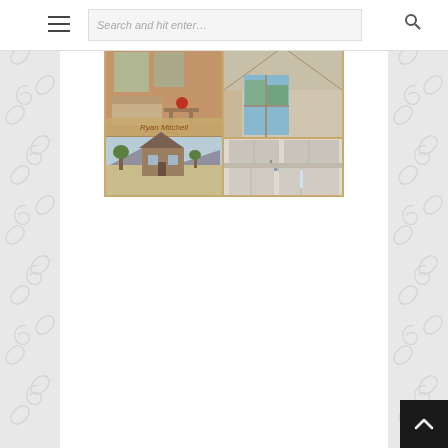[Figure (screenshot): Website screenshot showing a navigation bar with a hamburger menu icon on the left, a search bar in the center reading 'Search and hit enter...', and a search icon on the right. Below the nav bar is a book cover image for 'Tiny House Living: Living Well in Less than 400 Square Feet' by Ryan Mitchell, showing interior and exterior photos of tiny houses. The page background features decorative swirl patterns on the left and right sides. A dark back-to-top arrow button appears in the bottom right corner.]